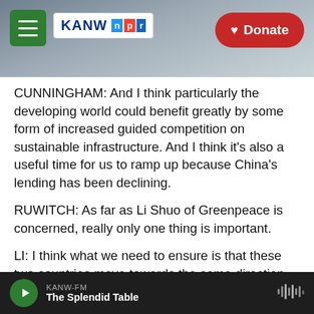KANW NPR — Donate
CUNNINGHAM: And I think particularly the developing world could benefit greatly by some form of increased guided competition on sustainable infrastructure. And I think it's also a useful time for us to ramp up because China's lending has been declining.
RUWITCH: As far as Li Shuo of Greenpeace is concerned, really only one thing is important.
LI: I think what we need to ensure is that these two countries move towards the same direction, towards decarbonization.
KANW-FM — The Splendid Table